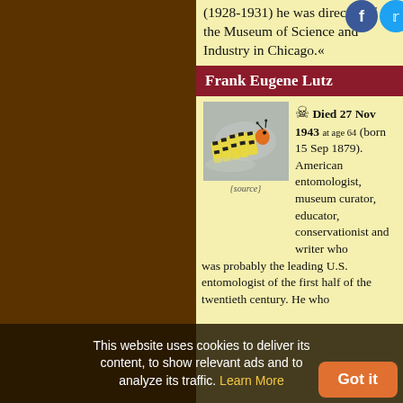(1928-1931) he was director of the Museum of Science and Industry in Chicago.«
Frank Eugene Lutz
[Figure (photo): Close-up photo of a striped caterpillar (monarch butterfly larva) on a surface]
{source}
Died 27 Nov 1943 at age 64 (born 15 Sep 1879). American entomologist, museum curator, educator, conservationist and writer who was probably the leading U.S. entomologist of the first half of the twentieth century. He who
This website uses cookies to deliver its content, to show relevant ads and to analyze its traffic. Learn More